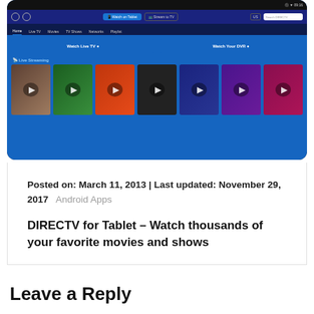[Figure (screenshot): Screenshot of DIRECTV for Tablet app interface showing navigation bar with Watch on Tablet and Stream to TV buttons, home/Live TV/Movies/TV Shows/Networks/Playlist tabs, Watch Live TV and Watch Your DVR hero buttons, Live Streaming section with movie/show thumbnails]
Posted on: March 11, 2013 | Last updated: November 29, 2017   Android Apps
DIRECTV for Tablet – Watch thousands of your favorite movies and shows
Leave a Reply